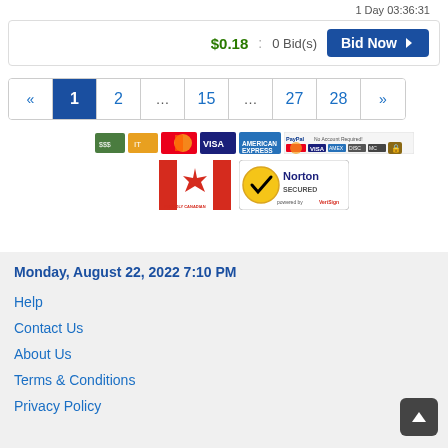1 Day 03:36:31
$0.18  :  0 Bid(s)  Bid Now
« 1 2 ... 15 ... 27 28 »
[Figure (logo): Payment method logos: cash, Interac, MasterCard, Visa, Amex, PayPal No Account Required with various card icons, and a lock icon]
[Figure (logo): Proudly Canadian flag logo and Norton Secured powered by VeriSign badge]
Monday, August 22, 2022 7:10 PM
Help
Contact Us
About Us
Terms & Conditions
Privacy Policy